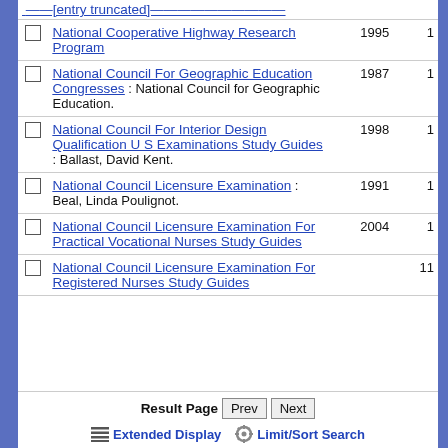|  | Title | Year | Count |
| --- | --- | --- | --- |
| ☐ | National Cooperative Highway Research Program | 1995 | 1 |
| ☐ | National Council For Geographic Education Congresses : National Council for Geographic Education. | 1987 | 1 |
| ☐ | National Council For Interior Design Qualification U S Examinations Study Guides : Ballast, David Kent. | 1998 | 1 |
| ☐ | National Council Licensure Examination : Beal, Linda Poulignot. | 1991 | 1 |
| ☐ | National Council Licensure Examination For Practical Vocational Nurses Study Guides | 2004 | 1 |
| ☐ | National Council Licensure Examination For Registered Nurses Study Guides |  | 11 |
Result Page  Prev  Next
Extended Display  Limit/Sort Search